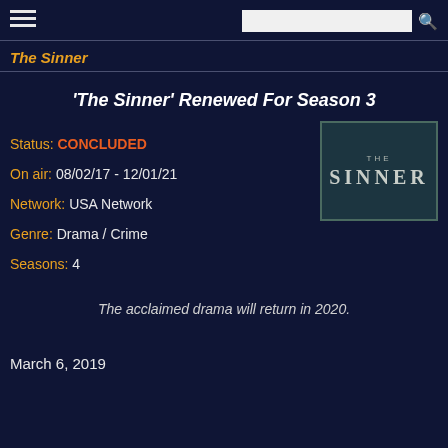The Sinner
'The Sinner' Renewed For Season 3
Status: CONCLUDED
On air: 08/02/17 - 12/01/21
Network: USA Network
Genre: Drama / Crime
Seasons: 4
[Figure (logo): The Sinner TV show logo — dark teal background with 'THE SINNER' text in white/grey letters]
The acclaimed drama will return in 2020.
March 6, 2019